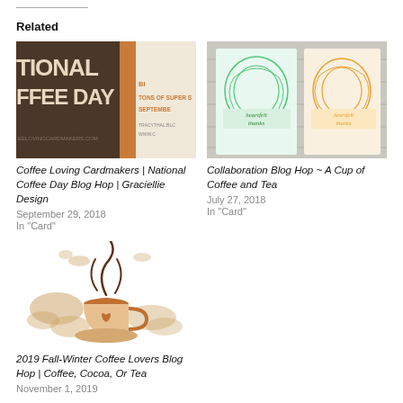Related
[Figure (photo): Blog thumbnail for Coffee Loving Cardmakers National Coffee Day Blog Hop — shows a promotional graphic with text TIONAL FFEE DAY, TONS OF SUPER S, SEPTEMBE on brown and cream background]
Coffee Loving Cardmakers | National Coffee Day Blog Hop | Graciellie Design
September 29, 2018
In "Card"
[Figure (photo): Blog thumbnail for Collaboration Blog Hop ~ A Cup of Coffee and Tea — shows two handmade cards with swirling floral line art in mint green and orange/gold, stamped with 'heartfelt thanks']
Collaboration Blog Hop ~ A Cup of Coffee and Tea
July 27, 2018
In "Card"
[Figure (illustration): Blog thumbnail for 2019 Fall-Winter Coffee Lovers Blog Hop — shows a coffee cup illustration with steam and coffee stain splatter marks in brown and tan tones]
2019 Fall-Winter Coffee Lovers Blog Hop | Coffee, Cocoa, Or Tea
November 1, 2019